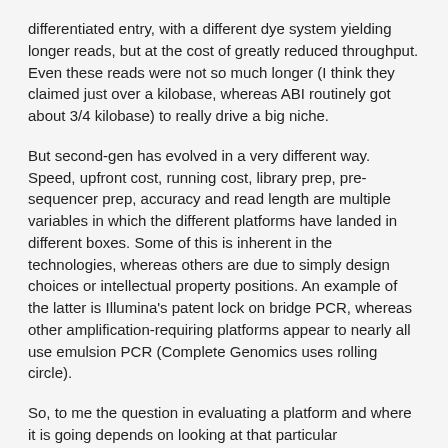differentiated entry, with a different dye system yielding longer reads, but at the cost of greatly reduced throughput. Even these reads were not so much longer (I think they claimed just over a kilobase, whereas ABI routinely got about 3/4 kilobase) to really drive a big niche.
But second-gen has evolved in a very different way. Speed, upfront cost, running cost, library prep, pre-sequencer prep, accuracy and read length are multiple variables in which the different platforms have landed in different boxes. Some of this is inherent in the technologies, whereas others are due to simply design choices or intellectual property positions. An example of the latter is Illumina's patent lock on bridge PCR, whereas other amplification-requiring platforms appear to nearly all use emulsion PCR (Complete Genomics uses rolling circle).
So, to me the question in evaluating a platform and where it is going depends on looking at that particular combination and asking what applications work best. Once that's worked out, the size of the market can be speculated on as well as who else might be bumping elbows in that space.